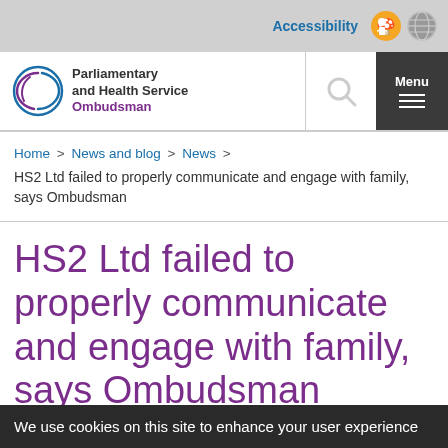Accessibility
[Figure (logo): Parliamentary and Health Service Ombudsman logo with circular arrow graphic]
Home > News and blog > News >
HS2 Ltd failed to properly communicate and engage with family, says Ombudsman
HS2 Ltd failed to properly communicate and engage with family, says Ombudsman
We use cookies on this site to enhance your user experience